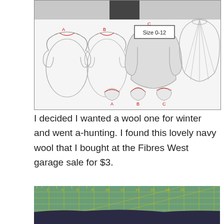[Figure (illustration): Sewing pattern envelope showing multiple views of a top/blouse pattern with short and long sleeves, labeled Size 0-12, along with a circular skirt and neckline variations labeled A, B, C.]
I decided I wanted a wool one for winter and went a-hunting. I found this lovely navy wool that I bought at the Fibres West garage sale for $3.
[Figure (photo): Photo of navy blue wool fabric laid on a green cutting mat with yellow grid lines and ruler markings.]